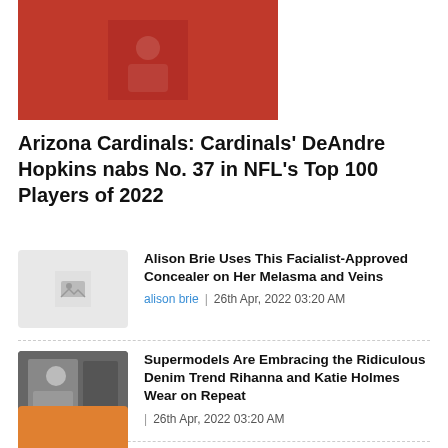[Figure (photo): Football player in red Arizona Cardinals uniform, partially cropped at top]
Arizona Cardinals: Cardinals' DeAndre Hopkins nabs No. 37 in NFL's Top 100 Players of 2022
Alison Brie Uses This Facialist-Approved Concealer on Her Melasma and Veins | alison brie | 26th Apr, 2022 03:20 AM
Supermodels Are Embracing the Ridiculous Denim Trend Rihanna and Katie Holmes Wear on Repeat | 26th Apr, 2022 03:20 AM
How to Buy Dresses Online (and Not Need to Return Them All) | dress | 26th Apr, 2022 03:20 AM